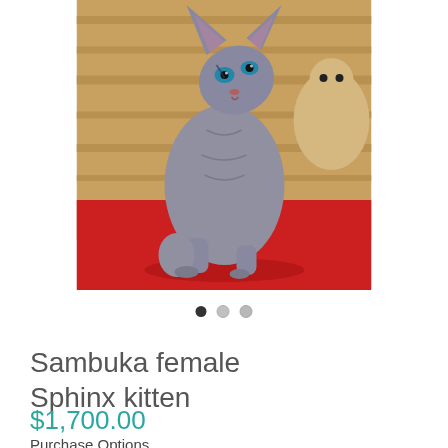[Figure (photo): A hairless Sphinx kitten (Sambuka female) sitting on a red surface against a wooden background, with a stuffed animal partially visible behind it. The cat has large ears and blue eyes.]
● ○ ○
Sambuka female Sphinx kitten
$1,700.00
Purchase Options